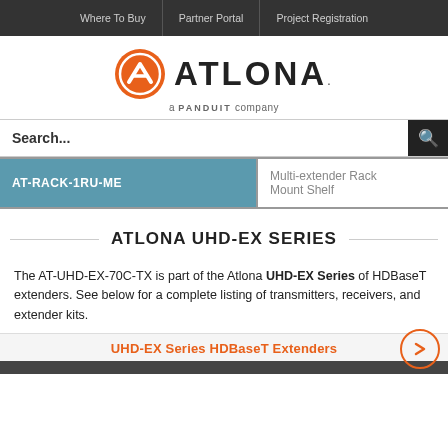Where To Buy | Partner Portal | Project Registration
[Figure (logo): Atlona logo with orange circle chevron icon and ATLONA wordmark, 'a Panduit company' tagline below]
Search...
| AT-RACK-1RU-ME | Multi-extender Rack Mount Shelf |
| --- | --- |
ATLONA UHD-EX SERIES
The AT-UHD-EX-70C-TX is part of the Atlona UHD-EX Series of HDBaseT extenders. See below for a complete listing of transmitters, receivers, and extender kits.
UHD-EX Series HDBaseT Extenders